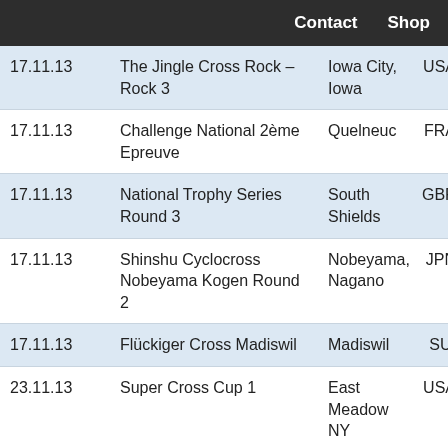Contact   Shop
| Date | Event | Location | Country |
| --- | --- | --- | --- |
| 17.11.13 | The Jingle Cross Rock – Rock 3 | Iowa City, Iowa | USA |
| 17.11.13 | Challenge National 2ème Epreuve | Quelneuc | FRA |
| 17.11.13 | National Trophy Series Round 3 | South Shields | GBR |
| 17.11.13 | Shinshu Cyclocross Nobeyama Kogen Round 2 | Nobeyama, Nagano | JPN |
| 17.11.13 | Flückiger Cross Madiswil | Madiswil | SUI |
| 23.11.13 | Super Cross Cup 1 | East Meadow NY | USA |